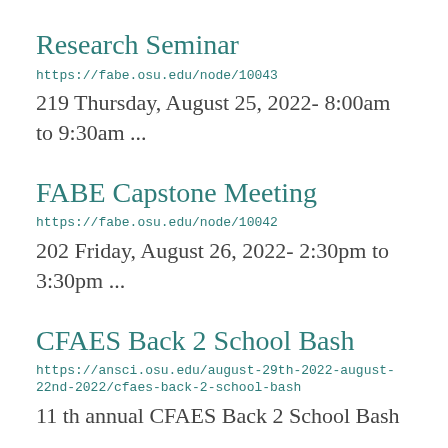Research Seminar
https://fabe.osu.edu/node/10043
219 Thursday, August 25, 2022- 8:00am to 9:30am ...
FABE Capstone Meeting
https://fabe.osu.edu/node/10042
202 Friday, August 26, 2022- 2:30pm to 3:30pm ...
CFAES Back 2 School Bash
https://ansci.osu.edu/august-29th-2022-august-22nd-2022/cfaes-back-2-school-bash
11 th annual CFAES Back 2 School Bash